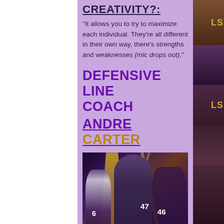CREATIVITY?:
"It allows you to try to maximize each individual. They're all different in their own way, there's strengths and weaknesses (mic drops out)."
DEFENSIVE LINE COACH
ANDRE CARTER
[Figure (photo): Collage photo of football players in purple and gold LSU uniforms in a dark arena with yellow spotlights and a coach in the center foreground, players numbered 47 and 46 visible in the background]
[Figure (infographic): Cyan blue circular button with three white dots (ellipsis/more options indicator)]